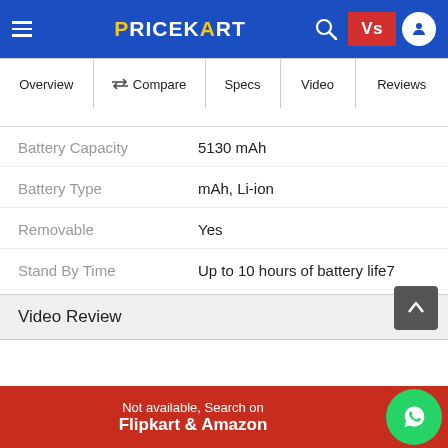PRICEKART
| Overview | Compare | Specs | Video | Reviews |
| --- | --- | --- | --- | --- |
| Specification | Value |
| --- | --- |
| Battery Capacity | 5130 mAh |
| Battery Type | mAh, Li-ion |
| Removable | Yes |
| Stand By Time | Up to 10 hours of battery life7 |
| Quick Charging | Yes |
Video Review
Not available, Search on Flipkart & Amazon